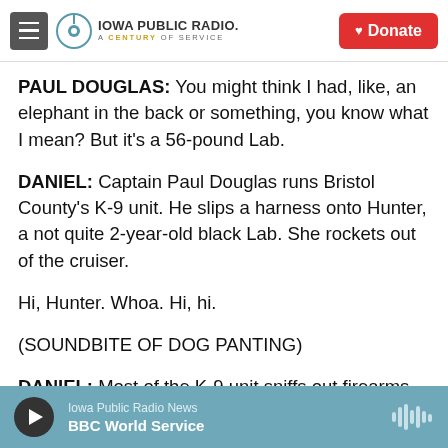Iowa Public Radio — A Century of Service | Donate
PAUL DOUGLAS: You might think I had, like, an elephant in the back or something, you know what I mean? But it's a 56-pound Lab.
DANIEL: Captain Paul Douglas runs Bristol County's K-9 unit. He slips a harness onto Hunter, a not quite 2-year-old black Lab. She rockets out of the cruiser.
Hi, Hunter. Whoa. Hi, hi.
(SOUNDBITE OF DOG PANTING)
DANIEL: Most of the K-9 unit sniffs out firearms or
Iowa Public Radio News — BBC World Service